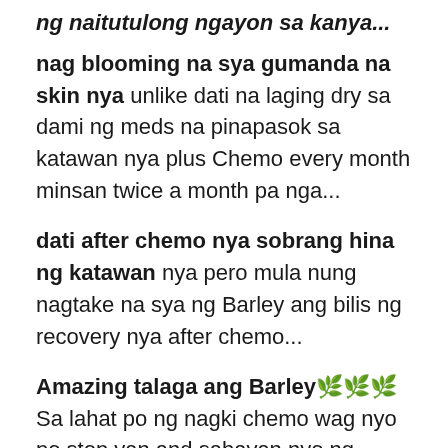ng naitutulong ngayon sa kanya...
nag blooming na sya gumanda na skin nya unlike dati na laging dry sa dami ng meds na pinapasok sa katawan nya plus Chemo every month minsan twice a month pa nga...
dati after chemo nya sobrang hina ng katawan nya pero mula nung nagtake na sya ng Barley ang bilis ng recovery nya after chemo...
Amazing talaga ang Barley 🌿🌿🌿 Sa lahat po ng nagki chemo wag nyo po stop yan,and sabayan nyo ng powder barley 🌿🥣